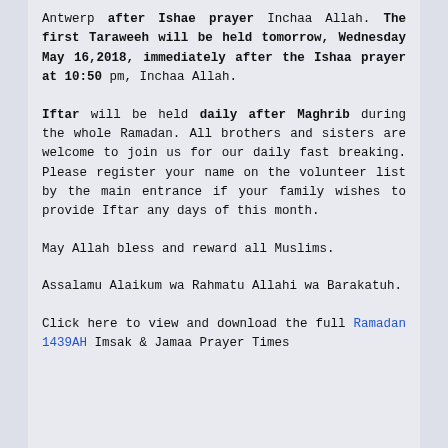Antwerp after Ishae prayer Inchaa Allah. The first Taraweeh will be held tomorrow, Wednesday May 16,2018, immediately after the Ishaa prayer at 10:50 pm, Inchaa Allah.
Iftar will be held daily after Maghrib during the whole Ramadan. All brothers and sisters are welcome to join us for our daily fast breaking. Please register your name on the volunteer list by the main entrance if your family wishes to provide Iftar any days of this month.
May Allah bless and reward all Muslims.
Assalamu Alaikum wa Rahmatu Allahi wa Barakatuh.
Click here to view and download the full Ramadan 1439AH Imsak & Jamaa Prayer Times